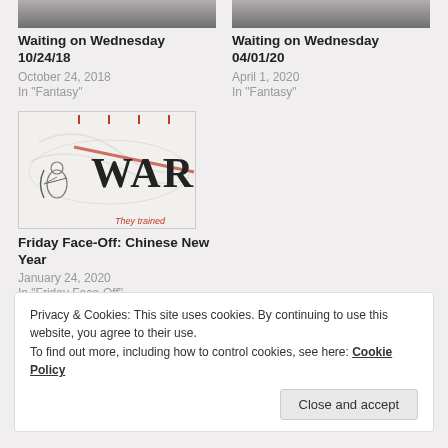[Figure (photo): Top cropped image strip for Waiting on Wednesday 10/24/18 card (grayscale photo)]
Waiting on Wednesday 10/24/18
October 24, 2018
In "Fantasy"
[Figure (photo): Top cropped image strip for Waiting on Wednesday 04/01/20 card (grayscale photo)]
Waiting on Wednesday 04/01/20
April 1, 2020
In "Fantasy"
[Figure (photo): Book cover for Friday Face-Off: Chinese New Year showing 'WAR' text and archer figure with 'They trained' tagline]
Friday Face-Off: Chinese New Year
January 24, 2020
In "Friday Face-Off"
Privacy & Cookies: This site uses cookies. By continuing to use this website, you agree to their use.
To find out more, including how to control cookies, see here: Cookie Policy
Close and accept